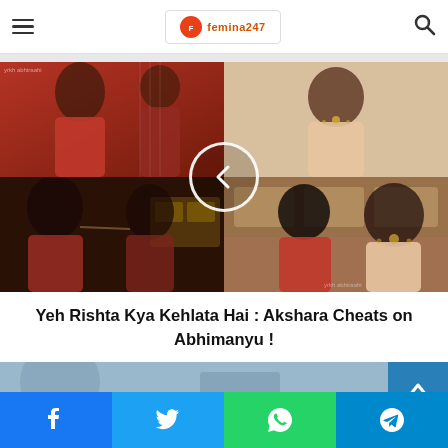Femina247 logo with hamburger menu and search icon
[Figure (photo): Collage of 4 TV drama screenshots from Yeh Rishta Kya Kehlata Hai showing characters in red outfits in a kitchen setting, with a circular back-navigation overlay button in the center]
Yeh Rishta Kya Kehlata Hai : Akshara Cheats on Abhimanyu !
[Figure (photo): Partial view of a second article image, cropped at bottom of page]
Social share buttons: Facebook, Twitter, WhatsApp, Telegram